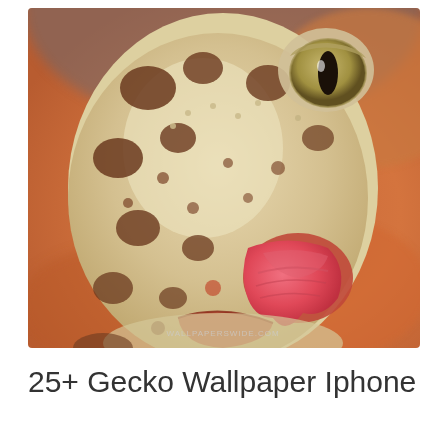[Figure (photo): Close-up macro photograph of a leopard gecko's face. The gecko has pale yellowish-white skin with dark brown spots and bumpy texture. It is sticking out its pink tongue. One eye is visible with a vertical slit pupil. The background is blurred orange/warm tones. A watermark 'wallpaperswide.com' is visible in the lower right corner of the image.]
25+ Gecko Wallpaper Iphone